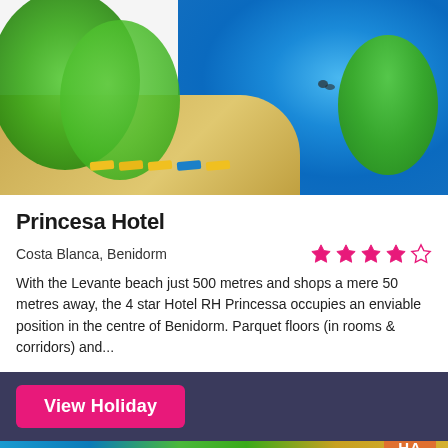[Figure (photo): Aerial view of a hotel swimming pool with palm trees, sun loungers with yellow cushions, and blue pool water. Taken from above showing tropical resort setting.]
Princesa Hotel
Costa Blanca, Benidorm
[Figure (other): 4 out of 5 star rating shown in pink/magenta stars]
With the Levante beach just 500 metres and shops a mere 50 metres away, the 4 star Hotel RH Princessa occupies an enviable position in the centre of Benidorm. Parquet floors (in rooms & corridors) and...
View Holiday
[Figure (photo): Bottom strip showing partial image of hotel/resort with palm trees and a partially visible orange badge with 'HA' text]